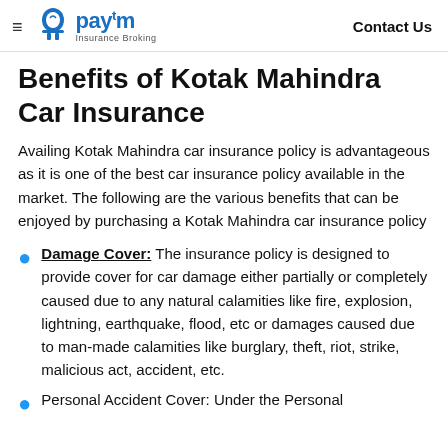Paytm Insurance Broking | Contact Us
Benefits of Kotak Mahindra Car Insurance
Availing Kotak Mahindra car insurance policy is advantageous as it is one of the best car insurance policy available in the market. The following are the various benefits that can be enjoyed by purchasing a Kotak Mahindra car insurance policy
Damage Cover: The insurance policy is designed to provide cover for car damage either partially or completely caused due to any natural calamities like fire, explosion, lightning, earthquake, flood, etc or damages caused due to man-made calamities like burglary, theft, riot, strike, malicious act, accident, etc.
Personal Accident Cover: Under the Personal